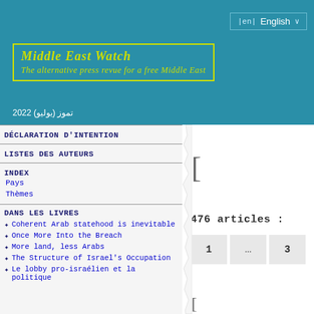Middle East Watch — The alternative press revue for a free Middle East
تموز (يوليو) 2022
DÉCLARATION D'INTENTION
LISTES DES AUTEURS
INDEX
Pays
Thèmes
DANS LES LIVRES
Coherent Arab statehood is inevitable
Once More Into the Breach
More land, less Arabs
The Structure of Israel's Occupation
Le lobby pro-israélien et la politique
476 articles :
1 ... 3